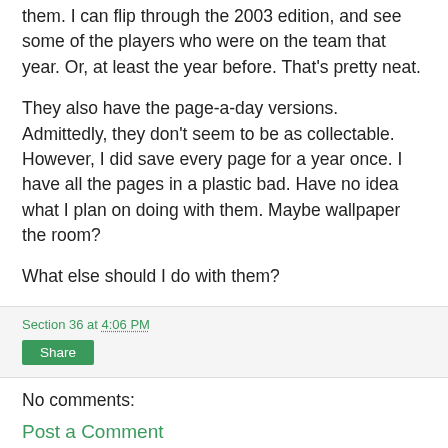them. I can flip through the 2003 edition, and see some of the players who were on the team that year. Or, at least the year before. That's pretty neat.
They also have the page-a-day versions. Admittedly, they don't seem to be as collectable. However, I did save every page for a year once. I have all the pages in a plastic bad. Have no idea what I plan on doing with them. Maybe wallpaper the room?
What else should I do with them?
Section 36 at 4:06 PM
Share
No comments:
Post a Comment